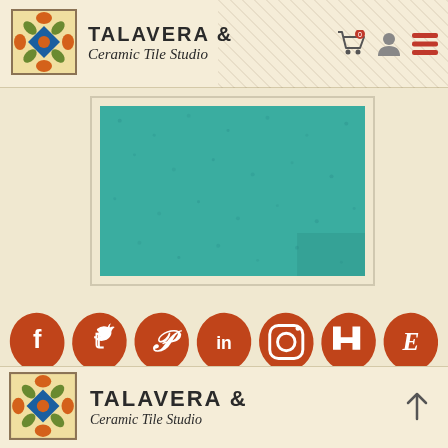[Figure (screenshot): Talavera & Ceramic Tile Studio website header with logo, site title, cart icon, user icon, and hamburger menu]
[Figure (photo): Teal/turquoise ceramic tile texture in a light bordered frame]
[Figure (infographic): Row of seven orange organic-blob-shaped social media icons: Facebook, Twitter, Pinterest, LinkedIn, Instagram, Houzz, Etsy]
[Figure (screenshot): Talavera & Ceramic Tile Studio website footer with logo, site name repeated, and scroll-to-top arrow button]